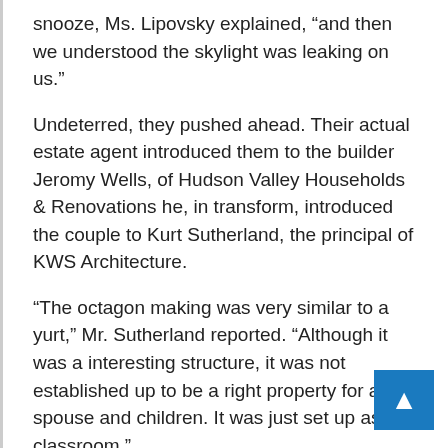snooze, Ms. Lipovsky explained, “and then we understood the skylight was leaking on us.”
Undeterred, they pushed ahead. Their actual estate agent introduced them to the builder Jeromy Wells, of Hudson Valley Households & Renovations he, in transform, introduced the couple to Kurt Sutherland, the principal of KWS Architecture.
“The octagon making was very similar to a yurt,” Mr. Sutherland reported. “Although it was a interesting structure, it was not established up to be a right property for a spouse and children. It was just set up as a classroom.”
To remedy that, Mr. Sutherland developed an growth that just about quadrupled the sizing of the 930-sq.-foot octagon. On 1 aspect, he added a